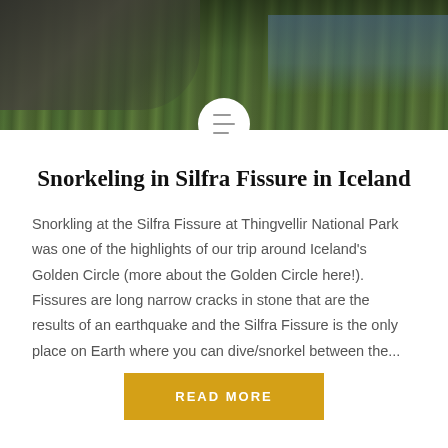[Figure (photo): Landscape photo of mossy rocky terrain with greenery and water in the background, partially obscured by a circular icon overlay]
Snorkeling in Silfra Fissure in Iceland
Snorkling at the Silfra Fissure at Thingvellir National Park was one of the highlights of our trip around Iceland's Golden Circle (more about the Golden Circle here!). Fissures are long narrow cracks in stone that are the results of an earthquake and the Silfra Fissure is the only place on Earth where you can dive/snorkel between the...
READ MORE